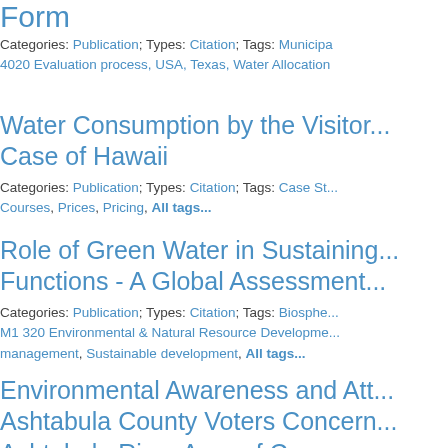Form
Categories: Publication; Types: Citation; Tags: Municipal 4020 Evaluation process, USA, Texas, Water Allocation
Water Consumption by the Visitor... Case of Hawaii
Categories: Publication; Types: Citation; Tags: Case St... Courses, Prices, Pricing, All tags...
Role of Green Water in Sustaining... Functions - A Global Assessment...
Categories: Publication; Types: Citation; Tags: Biosphere M1 320 Environmental & Natural Resource Development management, Sustainable development, All tags...
Environmental Awareness and Att... Ashtabula County Voters Concern... Ashtabula River Area of Concern:
Categories: Publication; Types: Citation; Tags: Cleanup perception, Harbours, Lakes, North America, Great Lak...